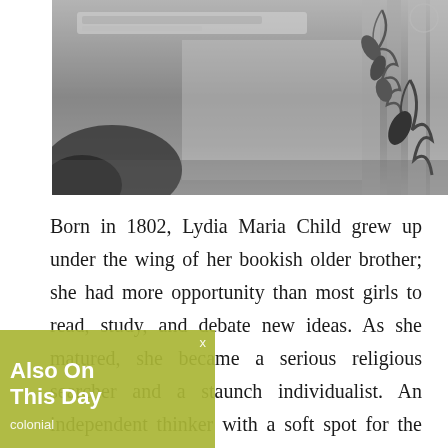[Figure (photo): Black and white photograph showing a stone monument or architectural detail with carved decorative elements including branches/leaves on the right side and dark sculptural forms on the lower left. A blurred inscription or text band is visible near the top.]
Born in 1802, Lydia Maria Child grew up under the wing of her bookish older brother; she had more opportunity than most girls to read, study, and debate new ideas. As she matured, she became a serious religious searcher and a staunch individualist. An independent thinker with a soft spot for the downtrodden, she was [obscured] when she published a novel in which a colonial New England girl falls in love and bears
Also On This Day
colonial